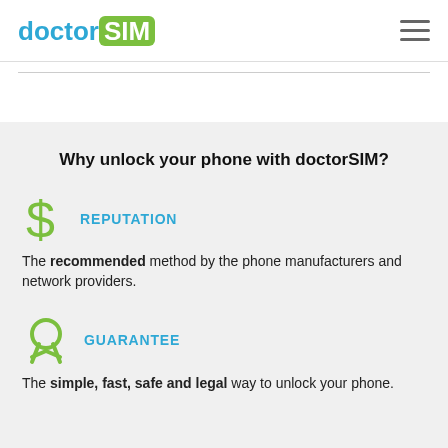[Figure (logo): doctorSIM logo: 'doctor' in blue and 'SIM' in white on green rounded rectangle background]
Why unlock your phone with doctorSIM?
REPUTATION
The recommended method by the phone manufacturers and network providers.
GUARANTEE
The simple, fast, safe and legal way to unlock your phone.